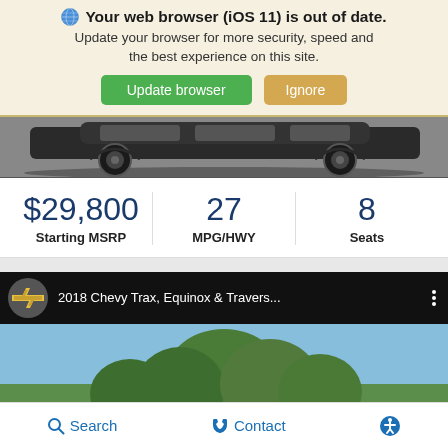Your web browser (iOS 11) is out of date. Update your browser for more security, speed and the best experience on this site. Update browser | Ignore
[Figure (screenshot): Bottom portion of a car (wheels and undercarriage) visible as a photo strip]
$29,800 Starting MSRP   27 MPG/HWY   8 Seats
[Figure (screenshot): YouTube-style video thumbnail: 2018 Chevy Trax, Equinox & Travers... with Chevrolet logo and CHEVY CROSSOVERS text overlay on a landscape scene]